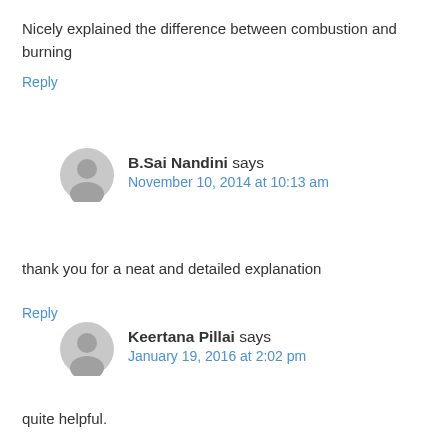Nicely explained the difference between combustion and burning
Reply
B.Sai Nandini says
November 10, 2014 at 10:13 am
thank you for a neat and detailed explanation
Reply
Keertana Pillai says
January 19, 2016 at 2:02 pm
quite helpful.